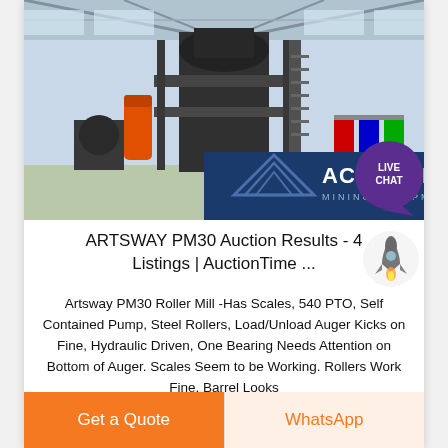[Figure (photo): Industrial mining/crushing machinery in a large warehouse/exhibition hall. Heavy equipment on elevated platform with steel framework. Bottom right shows ACRUSHER MINING EQUIPMENT logo on dark blue background with triangular logo mark. Live chat bubble overlay in top right.]
ARTSWAY PM30 Auction Results - 4 Listings | AuctionTime ...
Artsway PM30 Roller Mill -Has Scales, 540 PTO, Self Contained Pump, Steel Rollers, Load/Unload Auger Kicks on Fine, Hydraulic Driven, One Bearing Needs Attention on Bottom of Auger. Scales Seem to be Working. Rollers Work Fine, Barrel Looks